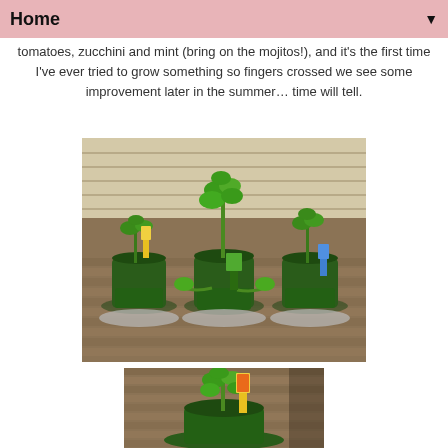Home
tomatoes, zucchini and mint (bring on the mojitos!), and it's the first time I've ever tried to grow something so fingers crossed we see some improvement later in the summer… time will tell.
[Figure (photo): Three dark green self-watering plant pots sitting on a wooden deck surface against house siding. Each pot contains young seedlings with seed marker stakes. The middle pot has a taller green plant growing.]
[Figure (photo): Close-up of a plant in a dark green self-watering pot on a deck, with a yellow seed packet stake visible, showing a tomato plant seedling.]